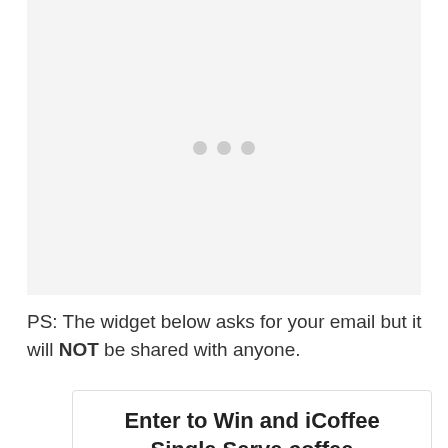[Figure (other): Loading placeholder with three grey dots on a light grey background]
PS: The widget below asks for your email but it will NOT be shared with anyone.
Enter to Win and iCoffee Single Serve coffee